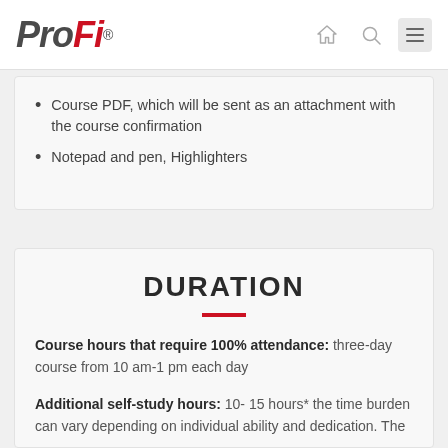ProFi® [navigation icons: home, search, menu]
Course PDF, which will be sent as an attachment with the course confirmation
Notepad and pen, Highlighters
DURATION
Course hours that require 100% attendance: three-day course from 10 am-1 pm each day
Additional self-study hours: 10- 15 hours* the time burden can vary depending on individual ability and dedication. The